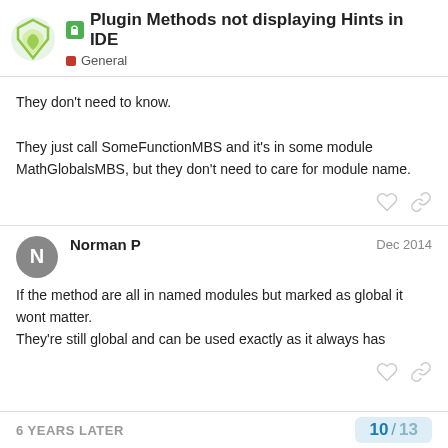Plugin Methods not displaying Hints in IDE — General
They don't need to know.

They just call SomeFunctionMBS and it's in some module MathGlobalsMBS, but they don't need to care for module name.
Norman P — Dec 2014
If the method are all in named modules but marked as global it wont matter.
They're still global and can be used exactly as it always has
6 YEARS LATER — 10 / 13